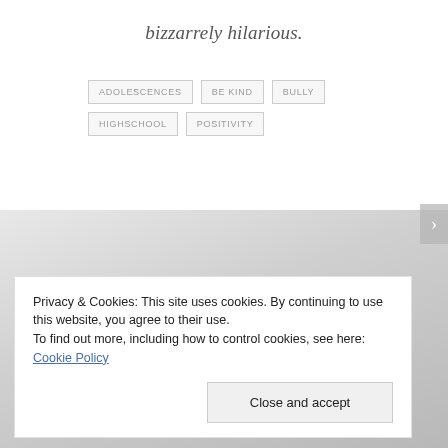bizzarrely hilarious.
ADOLESCENCES
BE KIND
BULLY
HIGHSCHOOL
POSITIVITY
[Figure (photo): Gray gradient background image section]
Privacy & Cookies: This site uses cookies. By continuing to use this website, you agree to their use.
To find out more, including how to control cookies, see here: Cookie Policy
Close and accept